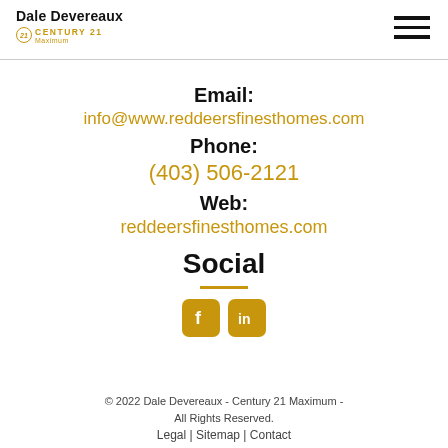Dale Devereaux / Century 21 Maximum
Email:
info@www.reddeersfinesthomes.com
Phone:
(403) 506-2121
Web:
reddeersfinesthomes.com
Social
[Figure (infographic): Facebook and LinkedIn social media icons in gold/yellow rounded square style]
© 2022 Dale Devereaux - Century 21 Maximum - All Rights Reserved.
Legal | Sitemap | Contact